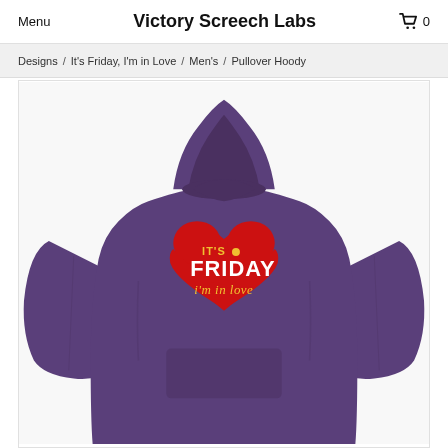Menu   Victory Screech Labs   🛒 0
Designs / It's Friday, I'm in Love / Men's / Pullover Hoody
[Figure (photo): Purple pullover hoodie with a red heart graphic on the chest. Inside the heart, text reads: IT'S (yellow) FRIDAY (white bold) i'm in love (yellow italic). A small yellow dot appears between IT'S and FRIDAY.]